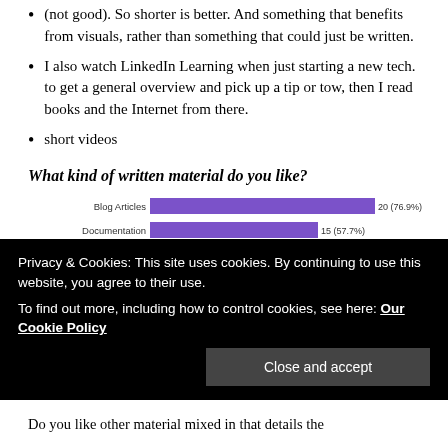(not good). So shorter is better. And something that benefits from visuals, rather than something that could just be written.
I also watch LinkedIn Learning when just starting a new tech. to get a general overview and pick up a tip or tow, then I read books and the Internet from there.
short videos
What kind of written material do you like?
[Figure (bar-chart): ]
Privacy & Cookies: This site uses cookies. By continuing to use this website, you agree to their use.
To find out more, including how to control cookies, see here: Our Cookie Policy
Do you like other material mixed in that details the